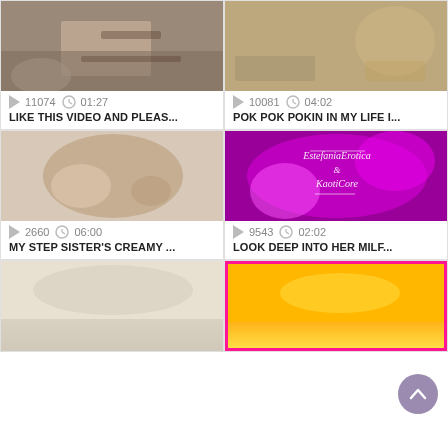[Figure (screenshot): Video thumbnail top-left: people on floor]
11074  01:27
LIKE THIS VIDEO AND PLEAS...
[Figure (screenshot): Video thumbnail top-right: people sitting]
10081  04:02
POK POK POKIN IN MY LIFE I...
[Figure (screenshot): Video thumbnail mid-left: close-up]
2660  06:00
MY STEP SISTER'S CREAMY ...
[Figure (screenshot): Video thumbnail mid-right: purple/pink graphic with EstefaniaErotica & KaotiCore text]
9543  02:02
LOOK DEEP INTO HER MILF...
[Figure (screenshot): Video thumbnail bottom-left: partial view]
[Figure (screenshot): Video thumbnail bottom-right: yellow/orange content with pink border]